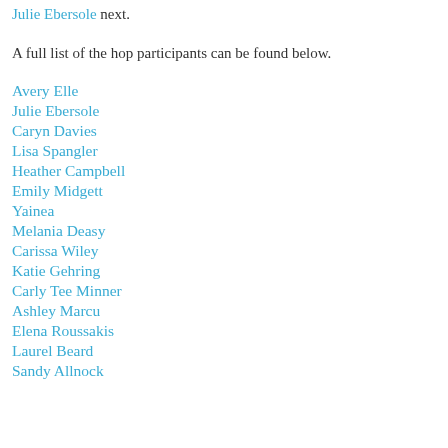Julie Ebersole next.
A full list of the hop participants can be found below.
Avery Elle
Julie Ebersole
Caryn Davies
Lisa Spangler
Heather Campbell
Emily Midgett
Yainea
Melania Deasy
Carissa Wiley
Katie Gehring
Carly Tee Minner
Ashley Marcu
Elena Roussakis
Laurel Beard
Sandy Allnock